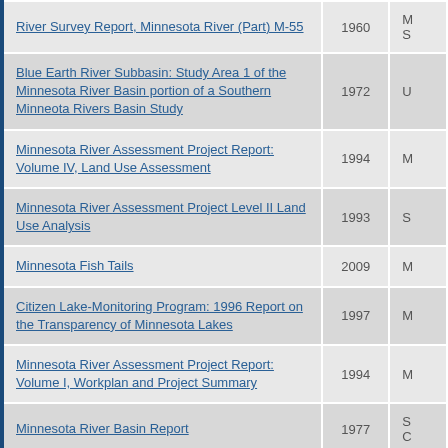| Title | Year | Author |
| --- | --- | --- |
| River Survey Report, Minnesota River (Part) M-55 | 1960 | M... S... |
| Blue Earth River Subbasin: Study Area 1 of the Minnesota River Basin portion of a Southern Minneota Rivers Basin Study | 1972 | U... |
| Minnesota River Assessment Project Report: Volume IV, Land Use Assessment | 1994 | M... |
| Minnesota River Assessment Project Level II Land Use Analysis | 1993 | S... |
| Minnesota Fish Tails | 2009 | M... |
| Citizen Lake-Monitoring Program: 1996 Report on the Transparency of Minnesota Lakes | 1997 | M... |
| Minnesota River Assessment Project Report: Volume I, Workplan and Project Summary | 1994 | M... |
| Minnesota River Basin Report | 1977 | S... C... |
| Upper Minnesota River Comprehensive Basin Study | 1972 | U... C... |
| Comprehensive Local Water Planning A Decade of Planning 1989-1999 |  | M... |